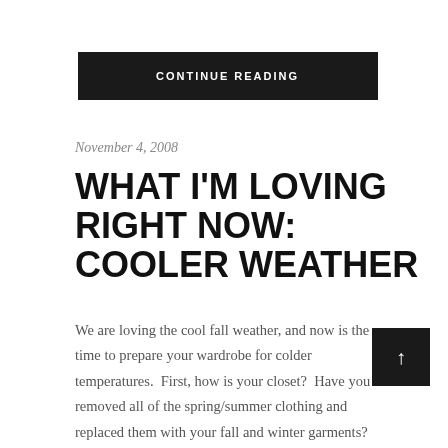CONTINUE READING
November 4, 2008
WHAT I'M LOVING RIGHT NOW: COOLER WEATHER
We are loving the cool fall weather, and now is the time to prepare your wardrobe for colder temperatures.  First, how is your closet?  Have you removed all of the spring/summer clothing and replaced them with your fall and winter garments?  Confused on how to